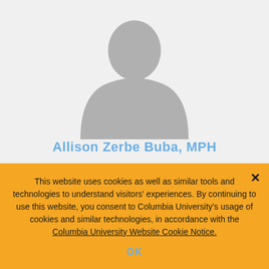[Figure (illustration): Generic placeholder silhouette of a person on a light gray background]
Allison Zerbe Buba, MPH
This website uses cookies as well as similar tools and technologies to understand visitors' experiences. By continuing to use this website, you consent to Columbia University's usage of cookies and similar technologies, in accordance with the Columbia University Website Cookie Notice.
OK